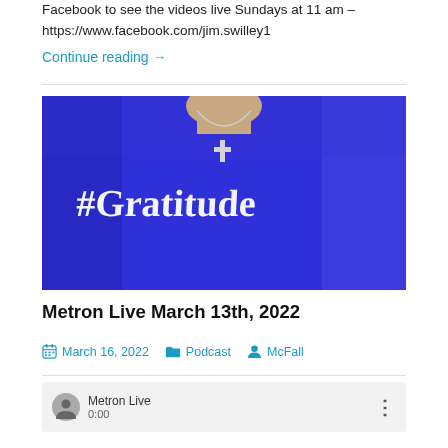Facebook to see the videos live Sundays at 11 am – https://www.facebook.com/jim.swilley1
Continue reading →
[Figure (photo): Person wearing a bright blue t-shirt with '#Gratitude' written in white gothic/old English lettering, and a cross necklace visible.]
Metron Live March 13th, 2022
March 16, 2022  Podcast  McFall
Metron Live  0:00